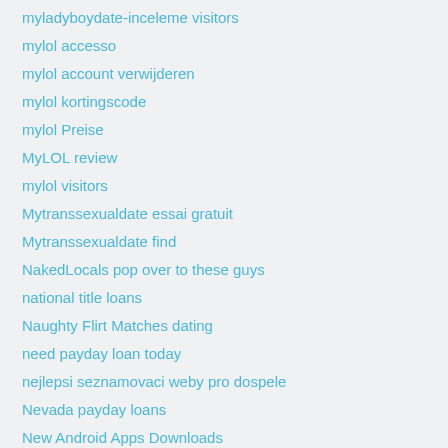myladyboydate-inceleme visitors
mylol accesso
mylol account verwijderen
mylol kortingscode
mylol Preise
MyLOL review
mylol visitors
Mytranssexualdate essai gratuit
Mytranssexualdate find
NakedLocals pop over to these guys
national title loans
Naughty Flirt Matches dating
need payday loan today
nejlepsi seznamovaci weby pro dospele
Nevada payday loans
New Android Apps Downloads
New Hampshire payday loans online